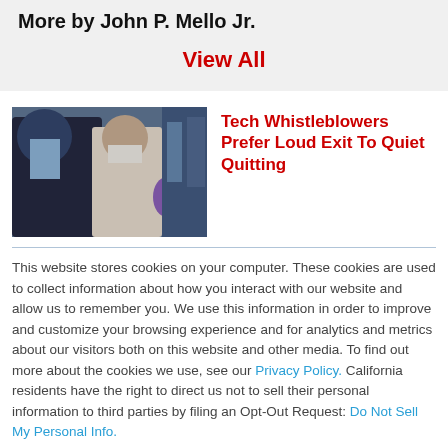More by John P. Mello Jr.
View All
[Figure (photo): People at a press conference, microphones, journalist scene]
Tech Whistleblowers Prefer Loud Exit To Quiet Quitting
This website stores cookies on your computer. These cookies are used to collect information about how you interact with our website and allow us to remember you. We use this information in order to improve and customize your browsing experience and for analytics and metrics about our visitors both on this website and other media. To find out more about the cookies we use, see our Privacy Policy. California residents have the right to direct us not to sell their personal information to third parties by filing an Opt-Out Request: Do Not Sell My Personal Info.
Accept